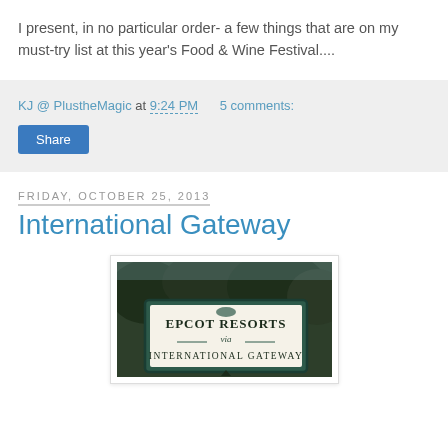I present, in no particular order- a few things that are on my must-try list at this year's Food & Wine Festival....
KJ @ PlustheMagic at 9:24 PM   5 comments:
Share
Friday, October 25, 2013
International Gateway
[Figure (photo): Photo of an Epcot Resorts via International Gateway sign surrounded by trees]